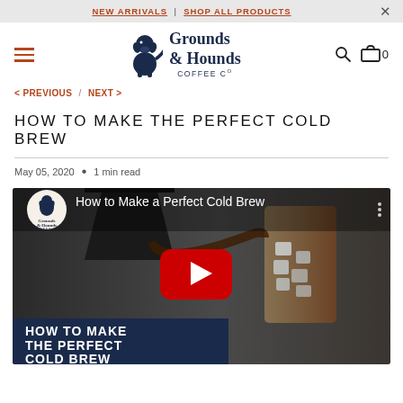NEW ARRIVALS | SHOP ALL PRODUCTS
[Figure (logo): Grounds & Hounds Coffee Co. logo with sitting dalmatian dog silhouette]
< PREVIOUS / NEXT >
HOW TO MAKE THE PERFECT COLD BREW
May 05, 2020 • 1 min read
[Figure (screenshot): YouTube video thumbnail showing 'How to Make a Perfect Cold Brew' with a kettle pouring cold brew into an iced glass, red YouTube play button in center, and text overlay 'HOW TO MAKE THE PERFECT COLD BREW' in white on dark navy background]